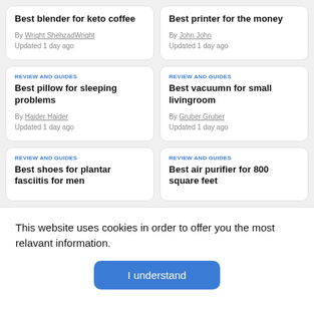Best blender for keto coffee
By Wright ShehzadWright
Updated 1 day ago
Best printer for the money
By John John
Updated 1 day ago
REVIEW AND GUIDES
Best pillow for sleeping problems
By Haider Haider
Updated 1 day ago
REVIEW AND GUIDES
Best vacuumn for small livingroom
By Gruber Gruber
Updated 1 day ago
REVIEW AND GUIDES
Best shoes for plantar fasciitis for men
REVIEW AND GUIDES
Best air purifier for 800 square feet
This website uses cookies in order to offer you the most relavant information.
I understand